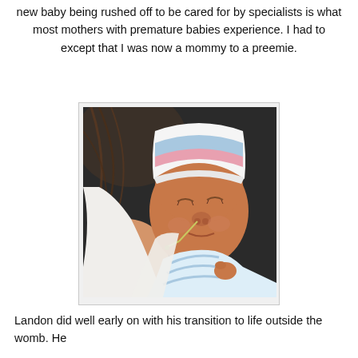new baby being rushed off to be cared for by specialists is what most mothers with premature babies experience. I had to except that I was now a mommy to a preemie.
[Figure (photo): Close-up photograph of a premature newborn baby wearing a pink and blue striped hospital cap and light blue striped swaddle blanket, with a small nasal feeding tube, being held by someone.]
Landon did well early on with his transition to life outside the womb. He